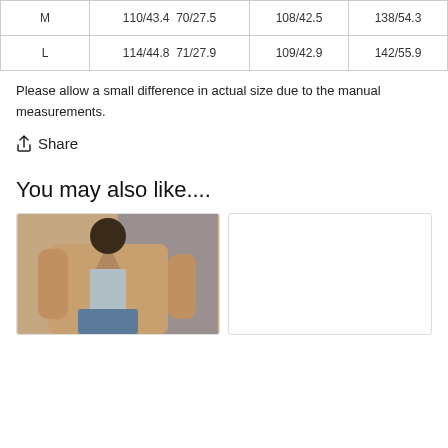|  |  |  |  |  |
| --- | --- | --- | --- | --- |
| M | 110/43.4 | 70/27.5 | 108/42.5 | 138/54.3 |
| L | 114/44.8 | 71/27.9 | 109/42.9 | 142/55.9 |
Please allow a small difference in actual size due to the manual measurements.
↑  Share
You may also like....
[Figure (photo): A person wearing a camel/tan oversized blazer or coat, with a light blue top and jeans, photographed outdoors near stone steps.]
[Figure (photo): Second product card, blank/white area shown.]